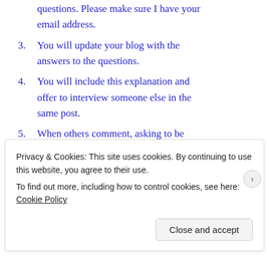questions. Please make sure I have your email address.
3. You will update your blog with the answers to the questions.
4. You will include this explanation and offer to interview someone else in the same post.
5. When others comment, asking to be interviewed, you will ask them five questions.
SHARE THIS:
Privacy & Cookies: This site uses cookies. By continuing to use this website, you agree to their use. To find out more, including how to control cookies, see here: Cookie Policy
Close and accept